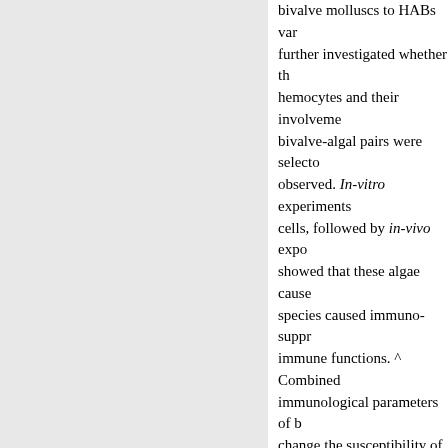bivalve molluscs to HABs var... further investigated whether th... hemocytes and their involveme... bivalve-algal pairs were selecto... observed. In-vitro experiments... cells, followed by in-vivo expo... showed that these algae cause... species caused immuno-suppr... immune functions. ^ Combined... immunological parameters of b... change the susceptibility of sh... interaction, favoring the host o... considering multiple environme... histopathological status of biva... bivalve molluscs are complex, ... interactions of bivalves with the...
Recommended Citation
Hegaret, Helene, "Impacts of har... bivalve molluscs" (2008). Docto... https://opencommons.uconn.edu/...